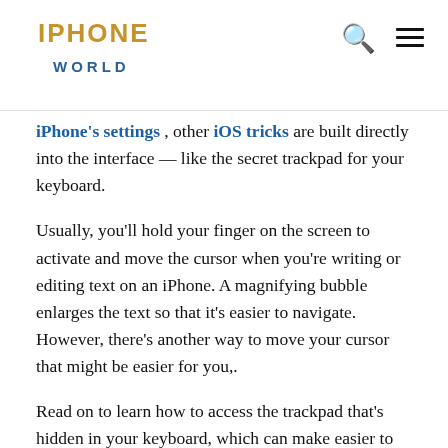IPHONE WORLD
iPhone's settings , other iOS tricks are built directly into the interface — like the secret trackpad for your keyboard.
Usually, you'll hold your finger on the screen to activate and move the cursor when you're writing or editing text on an iPhone. A magnifying bubble enlarges the text so that it's easier to navigate. However, there's another way to move your cursor that might be easier for you,.
Read on to learn how to access the trackpad that's hidden in your keyboard, which can make easier to place your cursor and edit text on an iPhone or iPad.
How To Use Intelligent Selection